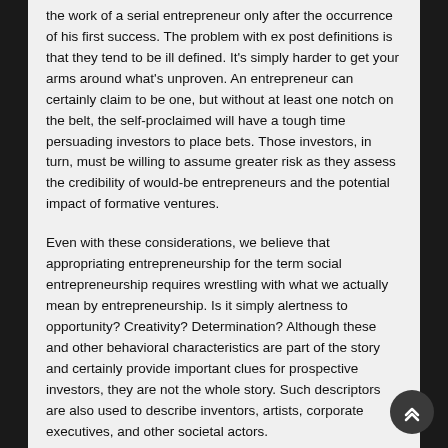the work of a serial entrepreneur only after the occurrence of his first success. The problem with ex post definitions is that they tend to be ill defined. It's simply harder to get your arms around what's unproven. An entrepreneur can certainly claim to be one, but without at least one notch on the belt, the self-proclaimed will have a tough time persuading investors to place bets. Those investors, in turn, must be willing to assume greater risk as they assess the credibility of would-be entrepreneurs and the potential impact of formative ventures.
Even with these considerations, we believe that appropriating entrepreneurship for the term social entrepreneurship requires wrestling with what we actually mean by entrepreneurship. Is it simply alertness to opportunity? Creativity? Determination? Although these and other behavioral characteristics are part of the story and certainly provide important clues for prospective investors, they are not the whole story. Such descriptors are also used to describe inventors, artists, corporate executives, and other societal actors.
Like most students of entrepreneurship, we begin with French economist Jean-Baptiste Say, who in the early 19th century described the entrepreneur as one who “shifts economic resources out of an area of lower and into an area of higher productivity and greater yield,” thereby expanding the literal translation from the French, “one who undertakes,” to